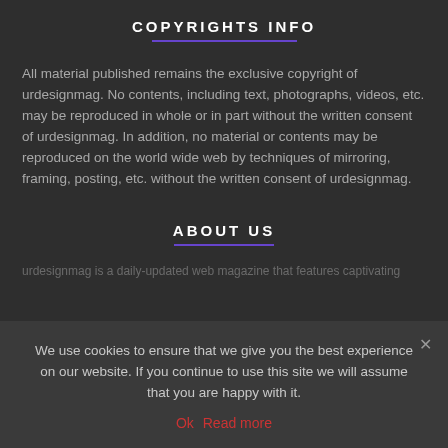COPYRIGHTS INFO
All material published remains the exclusive copyright of urdesignmag. No contents, including text, photographs, videos, etc. may be reproduced in whole or in part without the written consent of urdesignmag. In addition, no material or contents may be reproduced on the world wide web by techniques of mirroring, framing, posting, etc. without the written consent of urdesignmag.
ABOUT US
urdesignmag is a daily-updated web magazine that features captivating…
We use cookies to ensure that we give you the best experience on our website. If you continue to use this site we will assume that you are happy with it.
Ok  Read more